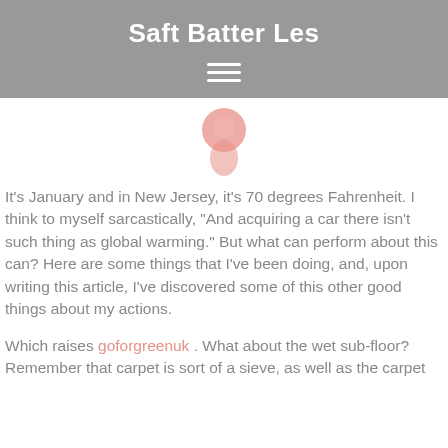Saft Batter Les
[Figure (illustration): A pink/red map pin or location marker icon, centered in the page area below the header]
It's January and in New Jersey, it's 70 degrees Fahrenheit. I think to myself sarcastically, “And acquiring a car there isn't such thing as global warming.” But what can perform about this can? Here are some things that I've been doing, and, upon writing this article, I've discovered some of this other good things about my actions.
Which raises goforgreenuk . What about the wet sub-floor? Remember that carpet is sort of a sieve, as well as the carpet